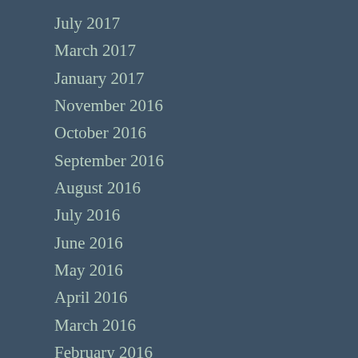July 2017
March 2017
January 2017
November 2016
October 2016
September 2016
August 2016
July 2016
June 2016
May 2016
April 2016
March 2016
February 2016
January 2016
December 2015
November 2015
October 2015